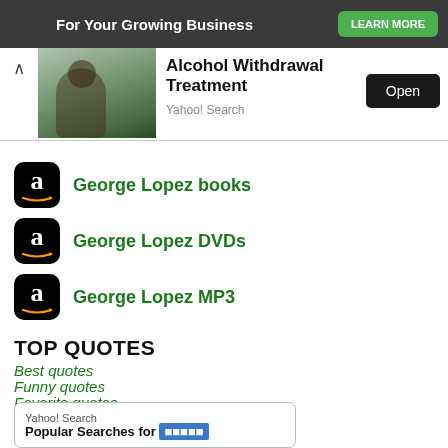[Figure (screenshot): Top dark banner ad: 'For Your Growing Business' with green 'LEARN MORE' button]
[Figure (screenshot): Alcohol Withdrawal Treatment ad with image of person at bar, Open button, Yahoo! Search source]
George Lopez books
George Lopez DVDs
George Lopez MP3
TOP QUOTES
Best quotes
Funny quotes
Favorite quotes
Insightful quotes
Offensive quotes
[Figure (screenshot): Yahoo! Search box at bottom with 'Popular Searches for' text and blue highlight]